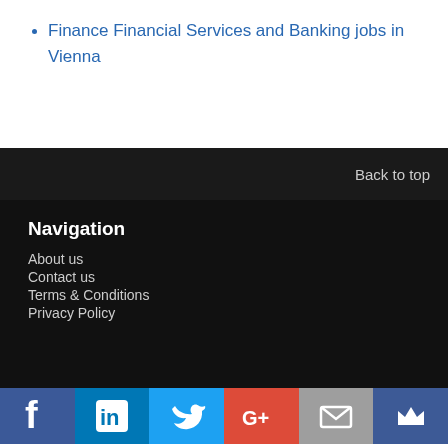Finance Financial Services and Banking jobs in Vienna
Back to top
Navigation
About us
Contact us
Terms & Conditions
Privacy Policy
[Figure (infographic): Social media icon bar with Facebook, LinkedIn, Twitter, Google+, Email, and Crown icons]